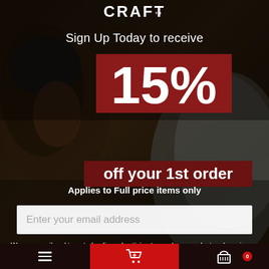[Figure (logo): CRAFT brand logo in white text at top center]
Sign Up Today to receive
15%
off your 1st order
Applies to Full price items only
Enter your email address
We use email and targeted online advertising to send you product and services updates, promotional offers and other marketing communications based on the information we collect about you, such as your email address, general location, and purchase and website browsing history.
We process your personal data as stated in our Privacy Policy {insert privacy policy link}. You may withdraw your consent or manage your